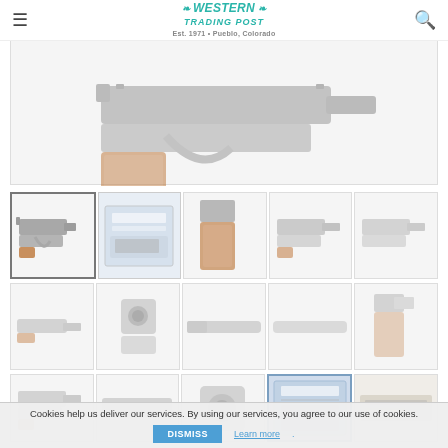Western Trading Post — navigation header with hamburger menu and search icon
[Figure (photo): Large main product image area showing a pistol (1911-style semi-automatic handgun), currently blank/loading]
[Figure (photo): Thumbnail grid row 1: 5 thumbnail images of 1911-style pistol from various angles — left side view (selected/highlighted), gun in box, grip close-up, right side view, left side view]
[Figure (photo): Thumbnail grid row 2: 5 thumbnail images — left profile, muzzle front view, barrel side, barrel detail, grip/frame right side]
[Figure (photo): Thumbnail grid row 3: 5 thumbnail images — left side view, left side/slide, muzzle close-up, gun in box with papers, gun stamp/marking detail]
Cookies help us deliver our services. By using our services, you agree to our use of cookies.
DISMISS
Learn more.